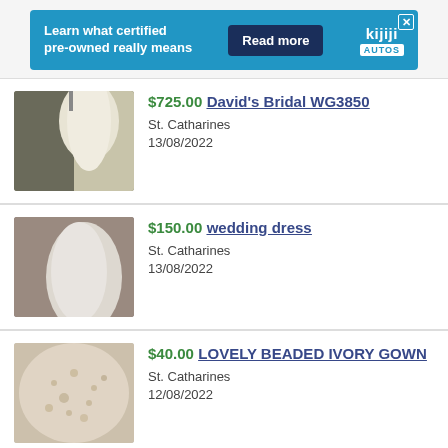[Figure (screenshot): Kijiji Autos advertisement banner: blue background, text 'Learn what certified pre-owned really means', 'Read more' button, Kijiji AUTOS logo, close X button]
$725.00 David's Bridal WG3850 | St. Catharines | 13/08/2022
$150.00 wedding dress | St. Catharines | 13/08/2022
$40.00 LOVELY BEADED IVORY GOWN | St. Catharines | 12/08/2022
$300.00 Wedding Dress (partial, cut off)